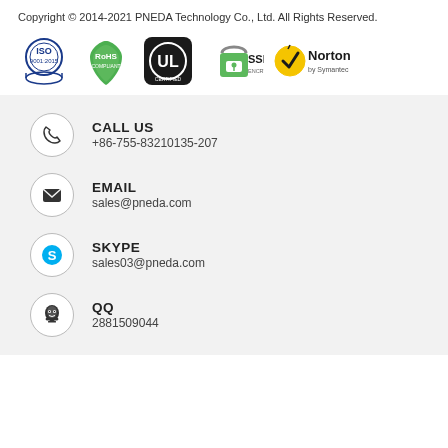Copyright © 2014-2021 PNEDA Technology Co., Ltd. All Rights Reserved.
[Figure (logo): Row of certification and security badges: ISO 9001:2015, RoHS Compliant, UL Certified, SSL Encryption, Norton by Symantec]
[Figure (infographic): Contact information section with icon circles: CALL US +86-755-83210135-207, EMAIL sales@pneda.com, SKYPE sales03@pneda.com, QQ 2881509044]